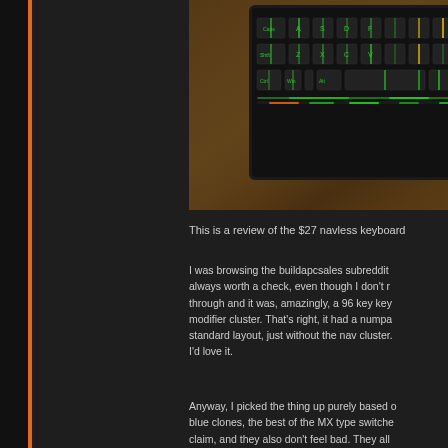[Figure (photo): Close-up photo of a mechanical keyboard with green RGB backlighting on keys (A, S, D, F, Caps, Shift, Z, X, C, V, Ctrl, Win, Alt) resting on a wooden surface. Dark background.]
This is a review of the $27 navless keyboard
I was browsing the buildapcsales subreddit always worth a check, even though I don't r through and it was, amazingly, a 96 key key modifier cluster. That's right, it had a numpa standard layout, just without the nav cluster. I'd love it.
Anyway, I picked the thing up purely based blue clones, the best of the MX type switche claim, and they also don't feel bad. They all There's a reason this is the bog standard me Like a hamburger. I have had a keyboard wi server for approximately 7 years. It's the sa